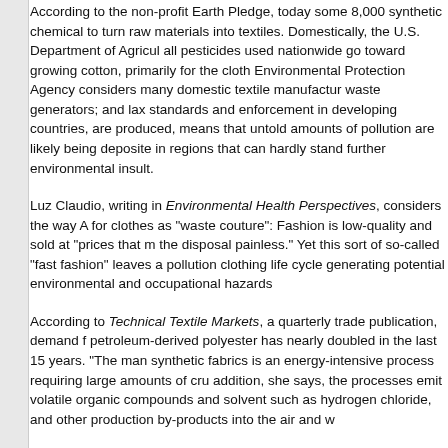According to the non-profit Earth Pledge, today some 8,000 synthetic chemicals are used to turn raw materials into textiles. Domestically, the U.S. Department of Agriculture says all pesticides used nationwide go toward growing cotton, primarily for the clothing industry; the Environmental Protection Agency considers many domestic textile manufacturers as large-quantity waste generators; and lax standards and enforcement in developing countries, where most clothes are produced, means that untold amounts of pollution are likely being deposited into the air, water in regions that can hardly stand further environmental insult.
Luz Claudio, writing in Environmental Health Perspectives, considers the way Americans shop for clothes as "waste couture": Fashion is low-quality and sold at "prices that make the disposal painless." Yet this sort of so-called "fast fashion" leaves a pollution trail, with each clothing life cycle generating potential environmental and occupational hazards.
According to Technical Textile Markets, a quarterly trade publication, demand for petroleum-derived polyester has nearly doubled in the last 15 years. "The manufacturing of synthetic fabrics is an energy-intensive process requiring large amounts of crude oil. In addition, she says, the processes emit volatile organic compounds and solvents, such as hydrogen chloride, and other production by-products into the air and water.
"Issues of environmental health and safety do not apply only to the production of clothing," says Claudio, citing subsidies to the pesticide-laden cotton industry that keep prices artificially low.
In an effort to green up the industry, Earth Pledge launched its FutureFashion initiative to encourage use of renewable, reusable and non-polluting materials and production methods. As one of the events FutureFashion showcases, the group organized the January 2008 New York Fashion Week, challenging designers to create and showcase greener clothing on their runway models. G...